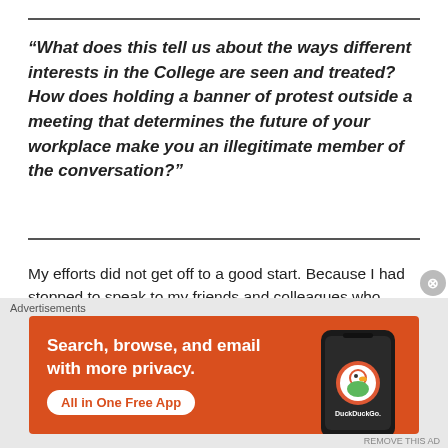“What does this tell us about the ways different interests in the College are seen and treated? How does holding a banner of protest outside a meeting that determines the future of your workplace make you an illegitimate member of the conversation?”
My efforts did not get off to a good start. Because I had stopped to speak to my friends and colleagues who were peacefully holding banners outside Senate House...
[Figure (other): DuckDuckGo advertisement banner: orange background with text 'Search, browse, and email with more privacy. All in One Free App' and DuckDuckGo logo on a phone graphic.]